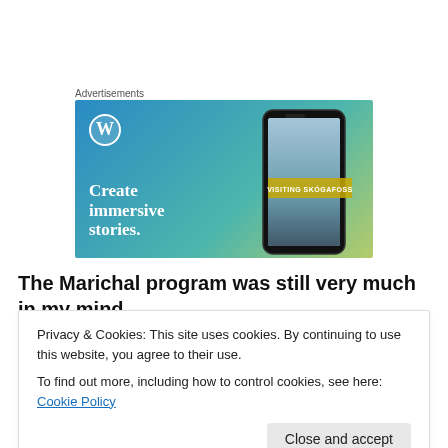Advertisements
[Figure (illustration): WordPress advertisement banner showing 'Create immersive stories.' text with WordPress logo and a phone mockup showing 'VISITING SKÓGAFOSS' waterfall image]
The Marichal program was still very much in my mind
Privacy & Cookies: This site uses cookies. By continuing to use this website, you agree to their use.
To find out more, including how to control cookies, see here: Cookie Policy
Close and accept
popular in their day as they've become later on, and